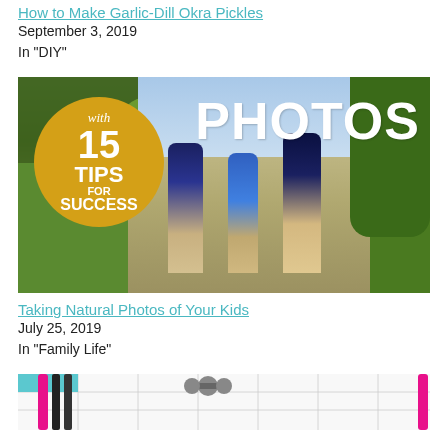How to Make Garlic-Dill Okra Pickles
September 3, 2019
In "DIY"
[Figure (photo): Blog post thumbnail showing three kids walking hand-in-hand on a path, with a green olive/gold circle badge overlay reading 'with 15 TIPS FOR SUCCESS' and large white text 'PHOTOS' on dark green background]
Taking Natural Photos of Your Kids
July 25, 2019
In "Family Life"
[Figure (photo): Partially visible blog post thumbnail showing a planner/calendar with colorful pens and a dumbbell on top]